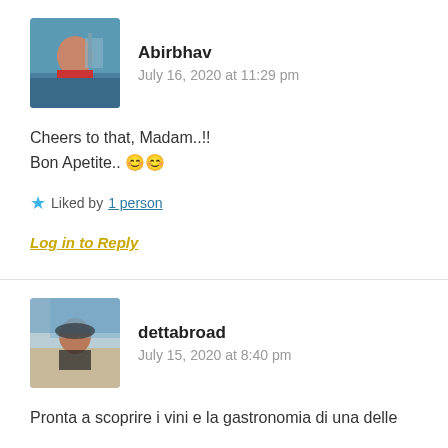[Figure (photo): Avatar photo of Abirbhav — person in red shirt near a bridge]
Abirbhav
July 16, 2020 at 11:29 pm
Cheers to that, Madam..!!
Bon Apetite.. 😊😊
★ Liked by 1 person
Log in to Reply
[Figure (photo): Avatar photo of dettabroad — woman with sunglasses at a beach]
dettabroad
July 15, 2020 at 8:40 pm
Pronta a scoprire i vini e la gastronomia di una delle